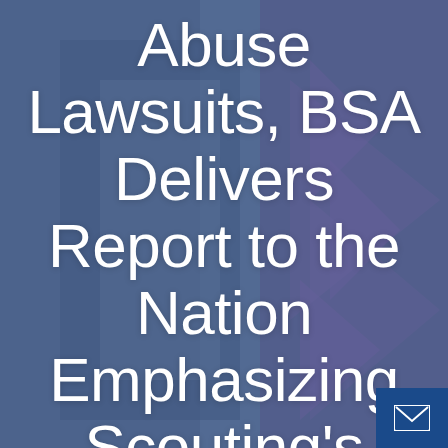[Figure (photo): Background photo of a Boy Scout in uniform with a blue-purple overlay/tint, with diagonal chevron/arrow design elements visible on the right side]
Abuse Lawsuits, BSA Delivers Report to the Nation Emphasizing Scouting's Benefits...